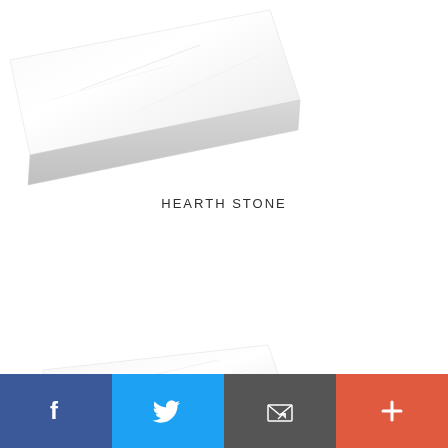[Figure (photo): White/off-white marble or stone slab shown at an angle from above, top portion of page]
HEARTH STONE
[Figure (photo): White/off-white stone or marble slab shown at an angle from above, lower portion of page]
Facebook | Twitter | Email | More social sharing buttons